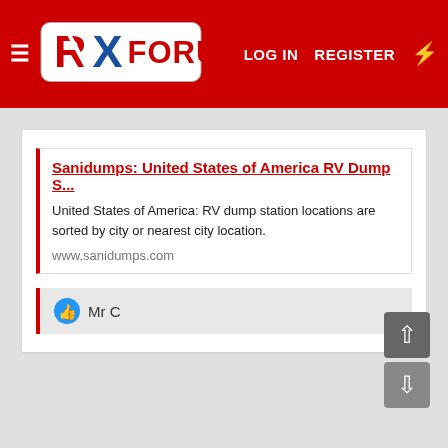RX FORUM — LOG IN  REGISTER
Sanidumps: United States of America RV Dump S...
United States of America: RV dump station locations are sorted by city or nearest city location.
www.sanidumps.com
Mr C